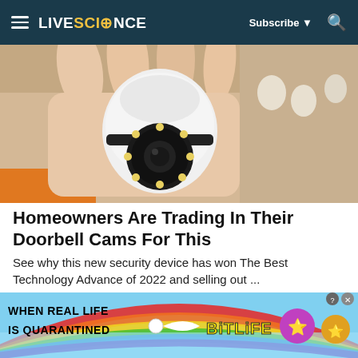LIVESCIENCE | Subscribe | Search
[Figure (photo): A hand holding a small white round security camera with LED lights around the lens, with a cardboard box in the background.]
Homeowners Are Trading In Their Doorbell Cams For This
See why this new security device has won The Best Technology Advance of 2022 and selling out ...
Trending Gadgets | Sponsored
[Figure (advertisement): BitLife app advertisement banner with colorful rainbow background. Text reads WHEN REAL LIFE IS QUARANTINED with BitLife logo and emoji characters.]